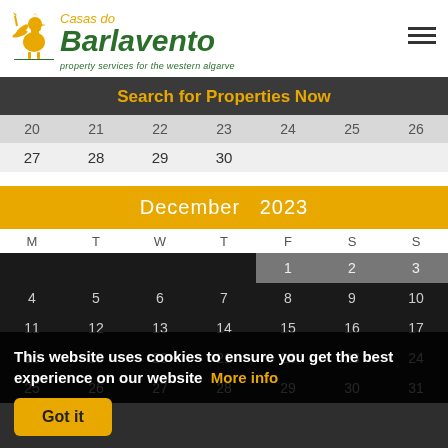[Figure (logo): Casas do Barlavento logo with rooster icon, green and gold text, tagline: property services for the western algarve]
Search for Properties Now
| M | T | W | T | F | S | S |
| --- | --- | --- | --- | --- | --- | --- |
| 20 | 21 | 22 | 23 | 24 | 25 | 26 |
| 27 | 28 | 29 | 30 |  |  |  |
December  2023
| M | T | W | T | F | S | S |
| --- | --- | --- | --- | --- | --- | --- |
|  |  |  |  | 1 | 2 | 3 |
| 4 | 5 | 6 | 7 | 8 | 9 | 10 |
| 11 | 12 | 13 | 14 | 15 | 16 | 17 |
| 18 | 19 | 20 | 21 | 22 | 23 | 24 |
| 25 | 26 | 27 | 28 | 29 | 30 | 31 |
This website uses cookies to ensure you get the best experience on our website  More info
Got it